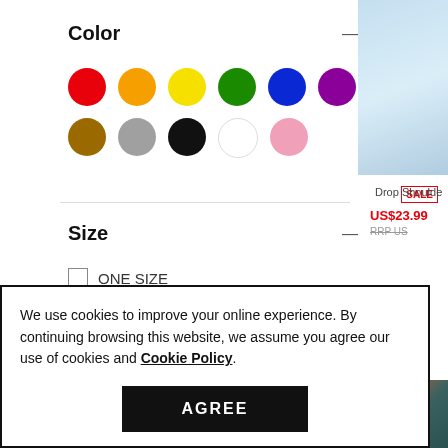Color
[Figure (illustration): Color swatches: red, orange, yellow, green, blue, purple (top row); brown, gray, black, white, pink (bottom row)]
Size
ONE SIZE
XS
S
[Figure (photo): Product photo: denim jacket detail, top right]
SALE
Drop Shoulde...
US$23.99 RRP US...
- 62%
[Figure (photo): Product photo: patterned jacket bottom right]
We use cookies to improve your online experience. By continuing browsing this website, we assume you agree our use of cookies and Cookie Policy.
AGREE